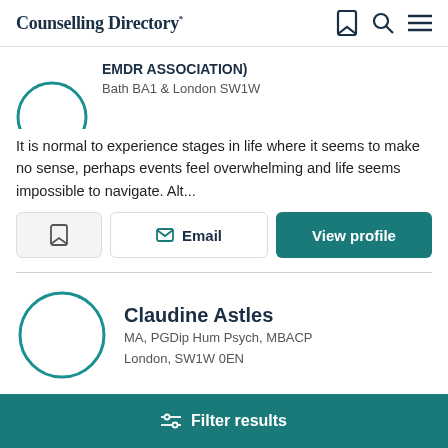Counselling Directory
EMDR ASSOCIATION)
Bath BA1 & London SW1W
It is normal to experience stages in life where it seems to make no sense, perhaps events feel overwhelming and life seems impossible to navigate. Alt...
Email
View profile
Claudine Astles
MA, PGDip Hum Psych, MBACP
London, SW1W 0EN
Filter results